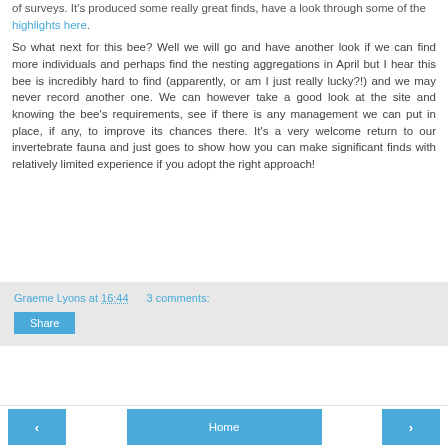of surveys. It's produced some really great finds, have a look through some of the highlights here.
So what next for this bee? Well we will go and have another look if we can find more individuals and perhaps find the nesting aggregations in April but I hear this bee is incredibly hard to find (apparently, or am I just really lucky?!) and we may never record another one. We can however take a good look at the site and knowing the bee's requirements, see if there is any management we can put in place, if any, to improve its chances there. It's a very welcome return to our invertebrate fauna and just goes to show how you can make significant finds with relatively limited experience if you adopt the right approach!
Graeme Lyons at 16:44     3 comments:
Share
◂     Home     ▸